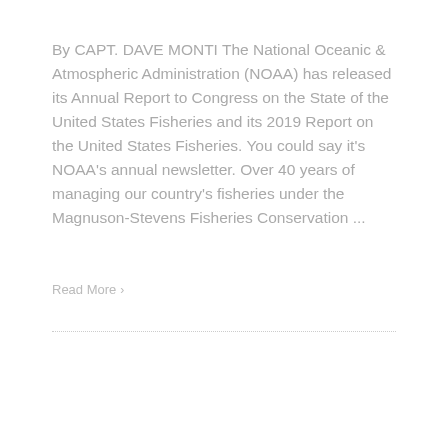By CAPT. DAVE MONTI The National Oceanic & Atmospheric Administration (NOAA) has released its Annual Report to Congress on the State of the United States Fisheries and its 2019 Report on the United States Fisheries. You could say it's NOAA's annual newsletter. Over 40 years of managing our country's fisheries under the Magnuson-Stevens Fisheries Conservation ...
Read More ›